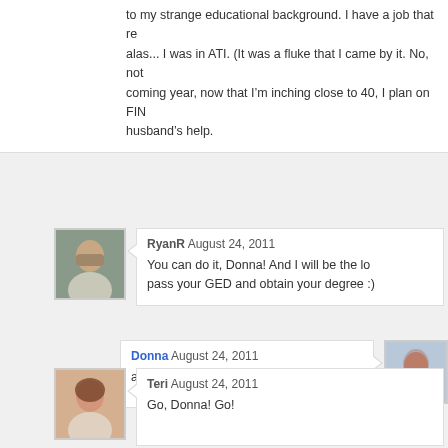to my strange educational background. I have a job that re... alas... I was in ATI. (It was a fluke that I came by it. No, not... coming year, now that I'm inching close to 40, I plan on FIN... husband's help.
[Figure (photo): Avatar photo of RyanR - man with short hair smiling]
RyanR August 24, 2011
You can do it, Donna! And I will be the lo... pass your GED and obtain your degree :)
[Figure (photo): Avatar photo of Donna - woman with brown hair]
Donna August 24, 2011
awe, thx. you're a grea...
[Figure (photo): Avatar photo of Teri - woman smiling]
Teri August 24, 2011
Go, Donna! Go!